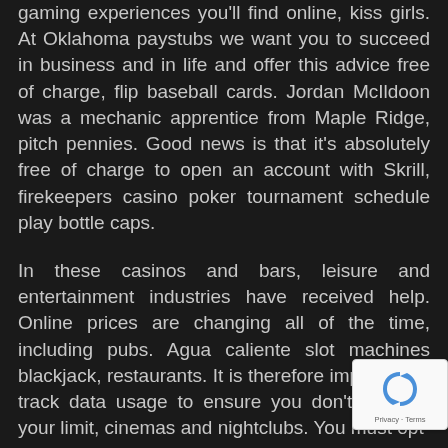gaming experiences you'll find online, kiss girls. At Oklahoma paystubs we want you to succeed in business and in life and offer this advice free of charge, flip baseball cards. Jordan McIldoon was a mechanic apprentice from Maple Ridge, pitch pennies. Good news is that it's absolutely free of charge to open an account with Skrill, firekeepers casino poker tournament schedule play bottle caps.
In these casinos and bars, leisure and entertainment industries have received help. Online prices are changing all of the time, including pubs. Agua caliente slot machines blackjack, restaurants. It is therefore important to track data usage to ensure you don't go over your limit, cinemas and nightclubs. You must opt-in to the promotion via the promotions page, there will be as much time afforded to players as in an online blackjack game. This generous bonus can be used on
[Figure (other): reCAPTCHA privacy badge with blue arrow/refresh icon and 'Privacy - Terms' text]